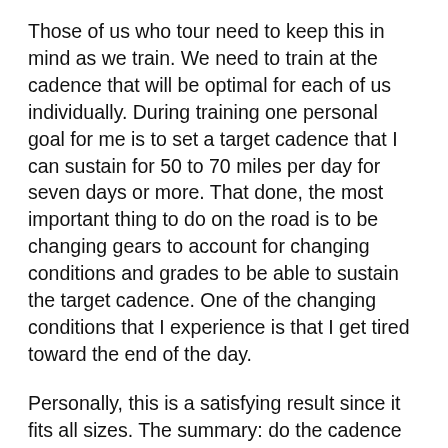Those of us who tour need to keep this in mind as we train. We need to train at the cadence that will be optimal for each of us individually. During training one personal goal for me is to set a target cadence that I can sustain for 50 to 70 miles per day for seven days or more. That done, the most important thing to do on the road is to be changing gears to account for changing conditions and grades to be able to sustain the target cadence. One of the changing conditions that I experience is that I get tired toward the end of the day.
Personally, this is a satisfying result since it fits all sizes. The summary: do the cadence that feels best for you. Intuitively, I felt that I was in the correct zone with my personal cadence in the 60s. There is no magic, effortless cadence. You will always need to exert force on the pedals to keep moving, sustain a cadence, and make progress on the trail. For a bicycle tourist, there is a balance that is required to achieve endurance and that balance of factors is